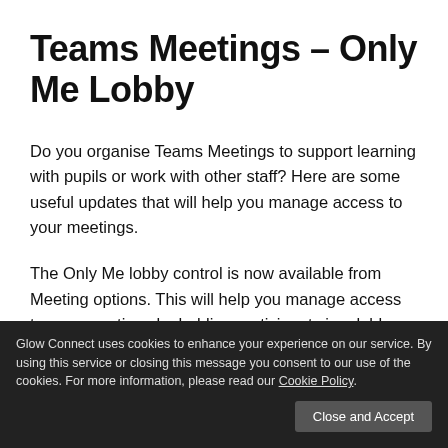Teams Meetings – Only Me Lobby
Do you organise Teams Meetings to support learning with pupils or work with other staff? Here are some useful updates that will help you manage access to your meetings.
The Only Me lobby control is now available from Meeting options. This will help you manage access to your meetings by holding participants in a lobby ready for you to admit them. It will also help if you need to remove someone from the meeting as they cannot re-enter without being admitted again.
Glow Connect uses cookies to enhance your experience on our service. By using this service or closing this message you consent to our use of the cookies. For more information, please read our Cookie Policy.